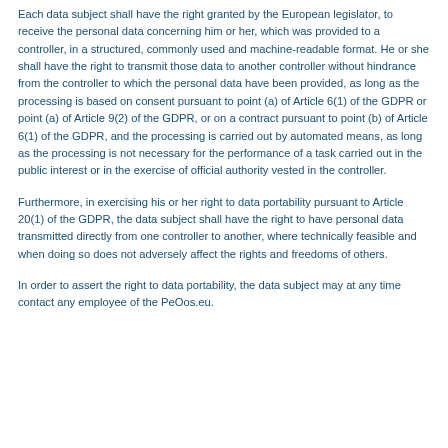Each data subject shall have the right granted by the European legislator, to receive the personal data concerning him or her, which was provided to a controller, in a structured, commonly used and machine-readable format. He or she shall have the right to transmit those data to another controller without hindrance from the controller to which the personal data have been provided, as long as the processing is based on consent pursuant to point (a) of Article 6(1) of the GDPR or point (a) of Article 9(2) of the GDPR, or on a contract pursuant to point (b) of Article 6(1) of the GDPR, and the processing is carried out by automated means, as long as the processing is not necessary for the performance of a task carried out in the public interest or in the exercise of official authority vested in the controller.
Furthermore, in exercising his or her right to data portability pursuant to Article 20(1) of the GDPR, the data subject shall have the right to have personal data transmitted directly from one controller to another, where technically feasible and when doing so does not adversely affect the rights and freedoms of others.
In order to assert the right to data portability, the data subject may at any time contact any employee of the PeOos.eu.